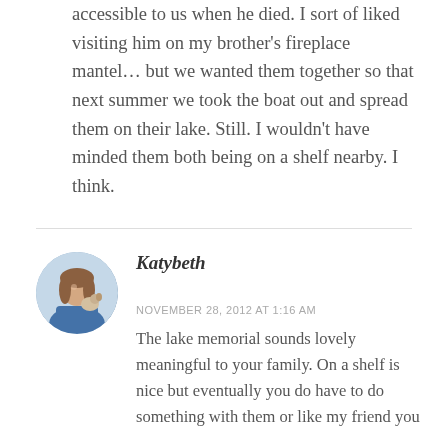accessible to us when he died. I sort of liked visiting him on my brother's fireplace mantel… but we wanted them together so that next summer we took the boat out and spread them on their lake. Still. I wouldn't have minded them both being on a shelf nearby. I think.
[Figure (photo): Circular avatar photo of a woman holding a small dog, wearing a blue top]
Katybeth
NOVEMBER 28, 2012 AT 1:16 AM
The lake memorial sounds lovely meaningful to your family. On a shelf is nice but eventually you do have to do something with them or like my friend you